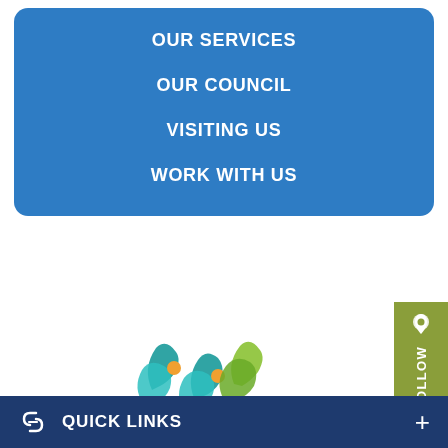OUR SERVICES
OUR COUNCIL
VISITING US
WORK WITH US
[Figure (logo): Lac La Biche County logo with stylized wave/bird shapes in teal, green, and orange, with text 'Lac La Biche County' and tagline 'welcoming by nature.']
Contact Us
FOLLOW
QUICK LINKS